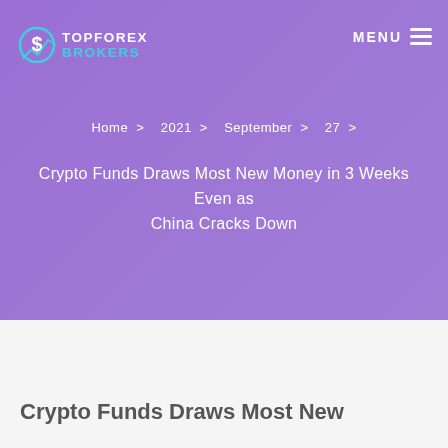TOPFOREX BROKERS
Home > 2021 > September > 27 >
Crypto Funds Draws Most New Money in 3 Weeks Even as China Cracks Down
Crypto Funds Draws Most New